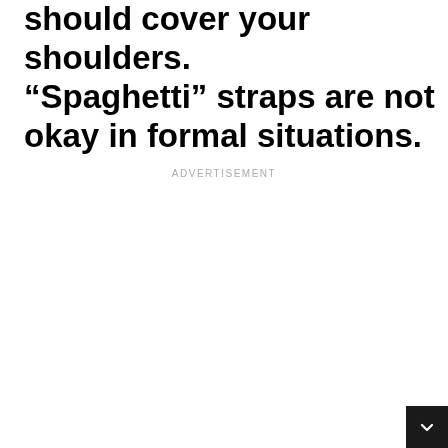should cover your shoulders. “Spaghetti” straps are not okay in formal situations.
ADVERTISEMENT